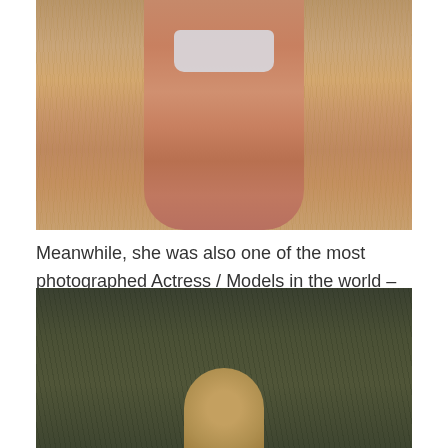[Figure (photo): Close-up photo of a person in white denim shorts in a wheat/grass field, showing torso and legs from behind, warm golden tones]
Meanwhile, she was also one of the most photographed Actress / Models in the world – appearing in dozens of magazine and building a huge fan base:
[Figure (photo): Photo of a person with light brown/blonde hair in a dark grassy field, only the top of the head visible at the bottom of the frame]